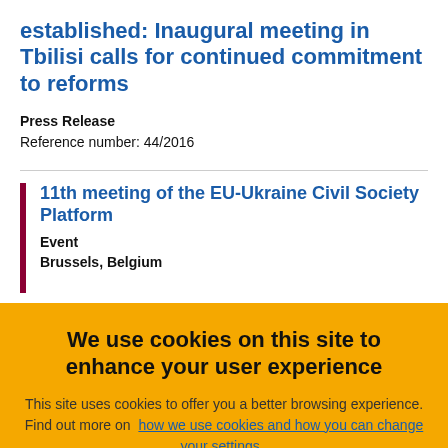established: Inaugural meeting in Tbilisi calls for continued commitment to reforms
Press Release
Reference number: 44/2016
11th meeting of the EU-Ukraine Civil Society Platform
Event
Brussels, Belgium
We use cookies on this site to enhance your user experience
This site uses cookies to offer you a better browsing experience. Find out more on how we use cookies and how you can change your settings .